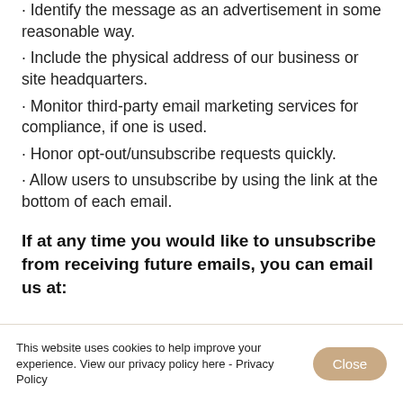· Identify the message as an advertisement in some reasonable way.
· Include the physical address of our business or site headquarters.
· Monitor third-party email marketing services for compliance, if one is used.
· Honor opt-out/unsubscribe requests quickly.
· Allow users to unsubscribe by using the link at the bottom of each email.
If at any time you would like to unsubscribe from receiving future emails, you can email us at:
This website uses cookies to help improve your experience. View our privacy policy here - Privacy Policy